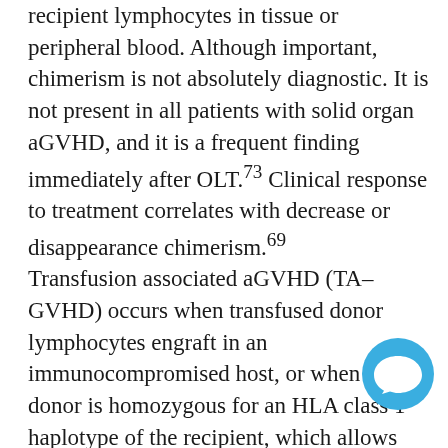recipient lymphocytes in tissue or peripheral blood. Although important, chimerism is not absolutely diagnostic. It is not present in all patients with solid organ aGVHD, and it is a frequent finding immediately after OLT.73 Clinical response to treatment correlates with decrease or disappearance chimerism.69
Transfusion associated aGVHD (TA–GVHD) occurs when transfused donor lymphocytes engraft in an immunocompromised host, or when the donor is homozygous for an HLA class 1 haplotype of the recipient, which allows donor lymphocytes to escape immunologic recognition by the recipient.74 This sometimes happens when blood relatives donate blood to immunocompetent recipients.74–76 Certain clinical situations also high risk. Granulocyte transfusions contain large
[Figure (illustration): Blue circular chat bubble / comment icon overlay in bottom-right area of the page]